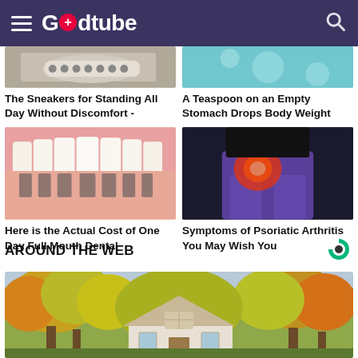Godtube
[Figure (photo): Partial image of sneakers at top left]
The Sneakers for Standing All Day Without Discomfort -
[Figure (photo): Partial aqua/teal colored image at top right]
A Teaspoon on an Empty Stomach Drops Body Weight
[Figure (photo): Dental veneers / teeth whitening image]
Here is the Actual Cost of One Day Full Mouth Dental
[Figure (photo): Person with hip/joint pain highlighted in red, wearing purple pants]
Symptoms of Psoriatic Arthritis You May Wish You
AROUND THE WEB
[Figure (photo): House exterior with autumn trees and colorful foliage]